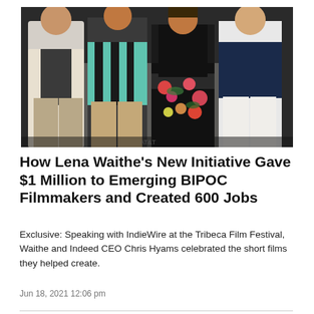[Figure (photo): Four people standing together at what appears to be a Tribeca Film Festival event. From left: a person in a cream jacket and dark shirt, a person in a teal and black striped shirt, a woman in a floral black dress with a wide black belt, and a person in a dark navy polo shirt with white pants.]
How Lena Waithe's New Initiative Gave $1 Million to Emerging BIPOC Filmmakers and Created 600 Jobs
Exclusive: Speaking with IndieWire at the Tribeca Film Festival, Waithe and Indeed CEO Chris Hyams celebrated the short films they helped create.
Jun 18, 2021 12:06 pm